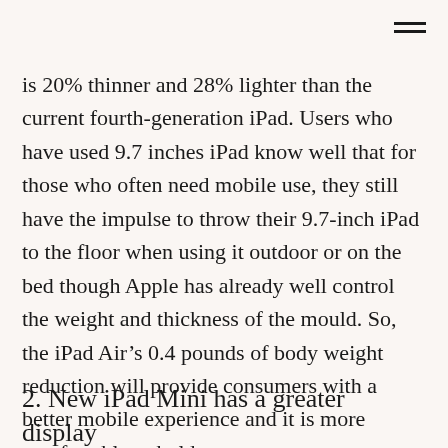is 20% thinner and 28% lighter than the current fourth-generation iPad. Users who have used 9.7 inches iPad know well that for those who often need mobile use, they still have the impulse to throw their 9.7-inch iPad to the floor when using it outdoor or on the bed though Apple has already well control the weight and thickness of the mould. So, the iPad Air’s 0.4 pounds of body weight reduction will provide consumers with a better mobile experience and it is more comfortable to hold.
2. New iPad Mini has a greater display